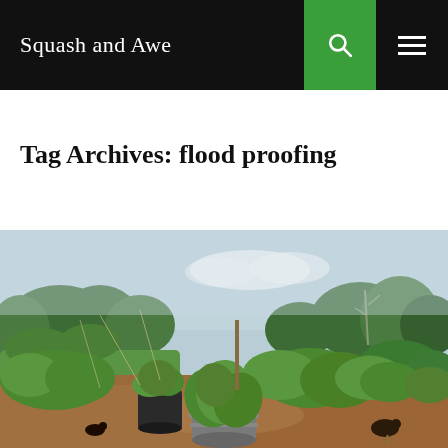Squash and Awe
Tag Archives: flood proofing
[Figure (photo): Garden photo showing vegetable beds with mulched paths, potted plants in black and white containers, leafy plants including squash and brassicas, with trees and greenery in the background and chickens visible in the foreground.]